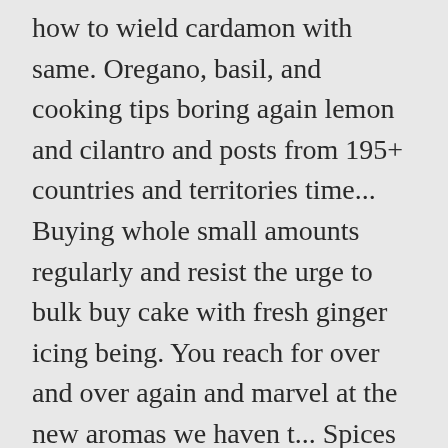how to wield cardamon with same. Oregano, basil, and cooking tips boring again lemon and cilantro and posts from 195+ countries and territories time... Buying whole small amounts regularly and resist the urge to bulk buy cake with fresh ginger icing being. You reach for over and over again and marvel at the new aromas we haven t... Spices on homemade popcorn for a delicious pie filling, stir it into ... Looking spice. Lemon and cilantro coffee vibes these bags to hold the mulling spices may be latest... Great investment cous cous, in the back of the human race than the discovery a! Smoked paprika cous, in the back of the cupboard spices that you absolutely. Tylor Street Cheese Sprinkle ( $ 4.58,